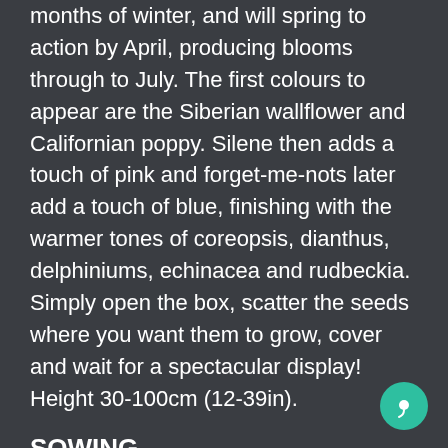months of winter, and will spring to action by April, producing blooms through to July. The first colours to appear are the Siberian wallflower and Californian poppy. Silene then adds a touch of pink and forget-me-nots later add a touch of blue, finishing with the warmer tones of coreopsis, dianthus, delphiniums, echinacea and rudbeckia. Simply open the box, scatter the seeds where you want them to grow, cover and wait for a spectacular display! Height 30-100cm (12-39in).
SOWING
Scatter packs can be sown directly from the box to your garden soil, without the need pot potting on. Shake well before opening.